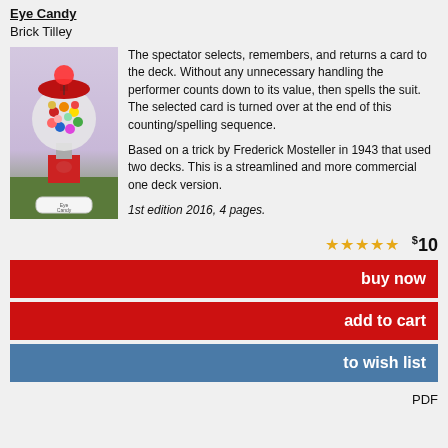Eye Candy
Brick Tilley
[Figure (illustration): Cover image of 'Eye Candy' showing a stylized gumball machine with a red mushroom-cap top, colorful gumballs, and a cartoon figure, with the words 'Eye Candy' at the bottom on a label.]
The spectator selects, remembers, and returns a card to the deck. Without any unnecessary handling the performer counts down to its value, then spells the suit. The selected card is turned over at the end of this counting/spelling sequence.

Based on a trick by Frederick Mosteller in 1943 that used two decks. This is a streamlined and more commercial one deck version.

1st edition 2016, 4 pages.
★★★★★ $10
buy now
add to cart
to wish list
PDF